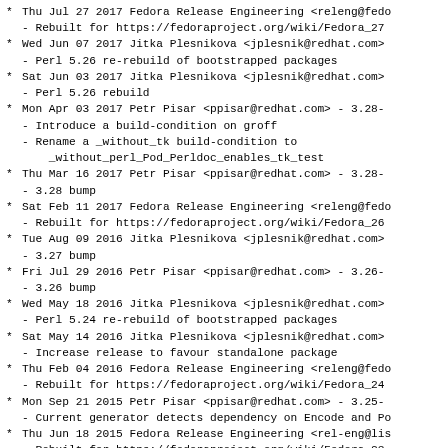Thu Jul 27 2017 Fedora Release Engineering <releng@fedo - Rebuilt for https://fedoraproject.org/wiki/Fedora_27
Wed Jun 07 2017 Jitka Plesnikova <jplesnik@redhat.com> - Perl 5.26 re-rebuild of bootstrapped packages
Sat Jun 03 2017 Jitka Plesnikova <jplesnik@redhat.com> - Perl 5.26 rebuild
Mon Apr 03 2017 Petr Pisar <ppisar@redhat.com> - 3.28- - Introduce a build-condition on groff - Rename a _without_tk build-condition to _without_perl_Pod_Perldoc_enables_tk_test
Thu Mar 16 2017 Petr Pisar <ppisar@redhat.com> - 3.28- - 3.28 bump
Sat Feb 11 2017 Fedora Release Engineering <releng@fedo - Rebuilt for https://fedoraproject.org/wiki/Fedora_26
Tue Aug 09 2016 Jitka Plesnikova <jplesnik@redhat.com> - 3.27 bump
Fri Jul 29 2016 Petr Pisar <ppisar@redhat.com> - 3.26- - 3.26 bump
Wed May 18 2016 Jitka Plesnikova <jplesnik@redhat.com> - Perl 5.24 re-rebuild of bootstrapped packages
Sat May 14 2016 Jitka Plesnikova <jplesnik@redhat.com> - Increase release to favour standalone package
Thu Feb 04 2016 Fedora Release Engineering <releng@fedo - Rebuilt for https://fedoraproject.org/wiki/Fedora_24
Mon Sep 21 2015 Petr Pisar <ppisar@redhat.com> - 3.25- - Current generator detects dependency on Encode and Po
Thu Jun 18 2015 Fedora Release Engineering <rel-eng@lis - Rebuilt for https://fedoraproject.org/wiki/Fedora_23
Wed Jun 10 2015 Jitka Plesnikova <jplesnik@redhat.com> - Perl 5.22 re-rebuild of bootstrapped packages